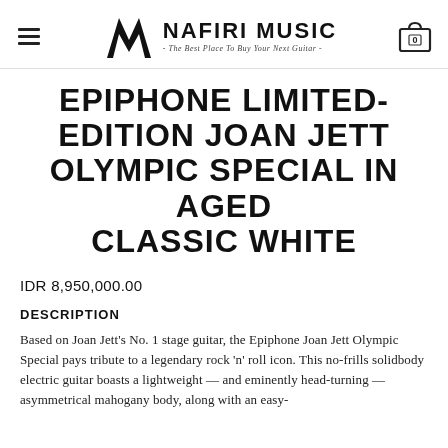NAFIRI MUSIC - The Best Place To Buy Your Next Guitar -
EPIPHONE LIMITED-EDITION JOAN JETT OLYMPIC SPECIAL IN AGED CLASSIC WHITE
IDR 8,950,000.00
DESCRIPTION
Based on Joan Jett's No. 1 stage guitar, the Epiphone Joan Jett Olympic Special pays tribute to a legendary rock 'n' roll icon. This no-frills solidbody electric guitar boasts a lightweight — and eminently head-turning — asymmetrical mahogany body, along with an easy-